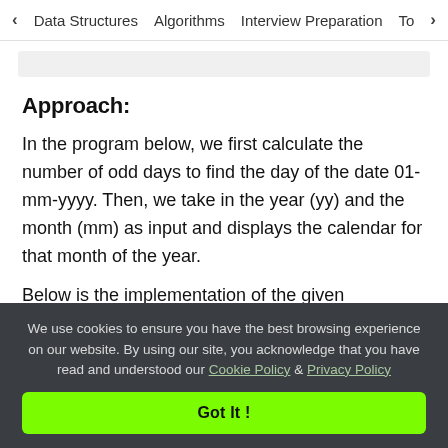< Data Structures   Algorithms   Interview Preparation   To>
Approach:
In the program below, we first calculate the number of odd days to find the day of the date 01-mm-yyyy. Then, we take in the year (yy) and the month (mm) as input and displays the calendar for that month of the year.
Below is the implementation of the given approach.
We use cookies to ensure you have the best browsing experience on our website. By using our site, you acknowledge that you have read and understood our Cookie Policy & Privacy Policy
Got It !